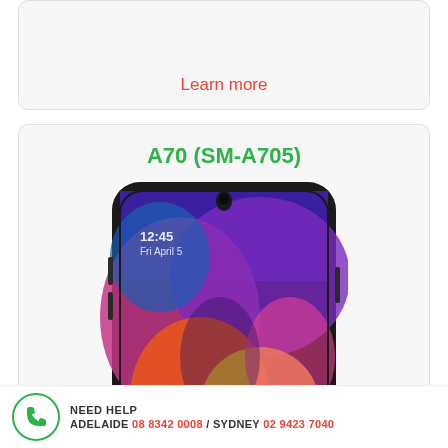Learn more
A70 (SM-A705)
[Figure (photo): Samsung Galaxy A70 (SM-A705) smartphone with colorful abstract wallpaper displaying time 12:45 Fri April 5]
NEED HELP  ADELAIDE  08 8342 0008 / SYDNEY  02 9423 7040